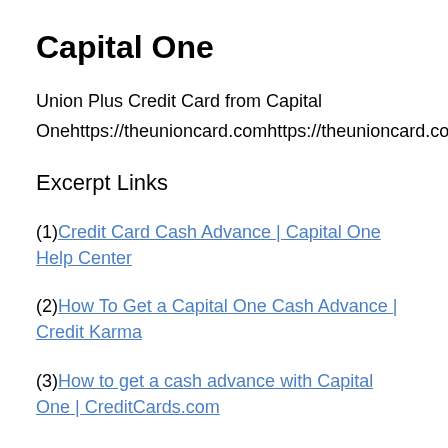Capital One
Union Plus Credit Card from Capital Onehttps://theunioncard.comhttps://theunioncard.com(56)
Excerpt Links
(1) Credit Card Cash Advance | Capital One Help Center
(2) How To Get a Capital One Cash Advance | Credit Karma
(3) How to get a cash advance with Capital One | CreditCards.com